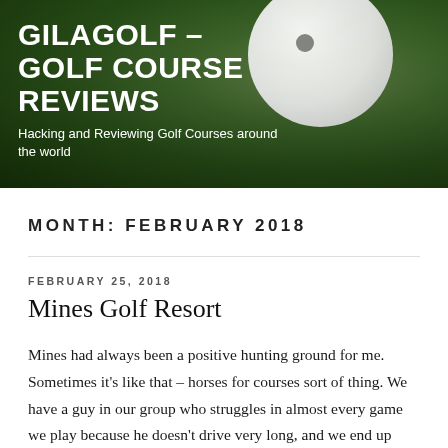GILAGOLF – GOLF COURSE REVIEWS
Hacking and Reviewing Golf Courses around the world
MONTH: FEBRUARY 2018
FEBRUARY 25, 2018
Mines Golf Resort
Mines had always been a positive hunting ground for me. Sometimes it's like that – horses for courses sort of thing. We have a guy in our group who struggles in almost every game we play because he doesn't drive very long, and we end up giving him previously up to 3 strokes per six (that means in a game of sixers where we switch partners every six holes). So for every 3 lowest index